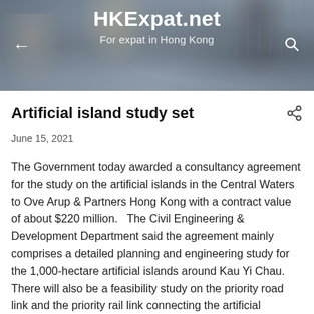HKExpat.net — For expat in Hong Kong
Artificial island study set
June 15, 2021
The Government today awarded a consultancy agreement for the study on the artificial islands in the Central Waters to Ove Arup & Partners Hong Kong with a contract value of about $220 million.   The Civil Engineering & Development Department said the agreement mainly comprises a detailed planning and engineering study for the 1,000-hectare artificial islands around Kau Yi Chau.   There will also be a feasibility study on the priority road link and the priority rail link connecting the artificial islands.   The study is scheduled to start tomorrow for completion within 42 months.   The